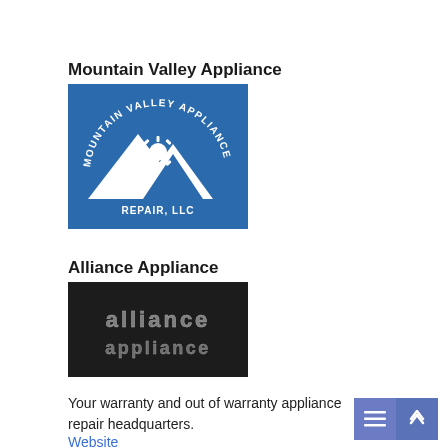Mountain Valley Appliance
[Figure (logo): Mountain Valley Appliance Repair, LLC logo — blue background with white mountain peaks and circular arc text reading MOUNTAIN VALLEY APPLIANCE REPAIR, LLC with a zia sun symbol]
Alliance Appliance
[Figure (logo): Alliance Appliance logo on dark/black background with metallic styled text reading 'alliance appliance' in two lines]
Your warranty and out of warranty appliance repair headquarters.
Website